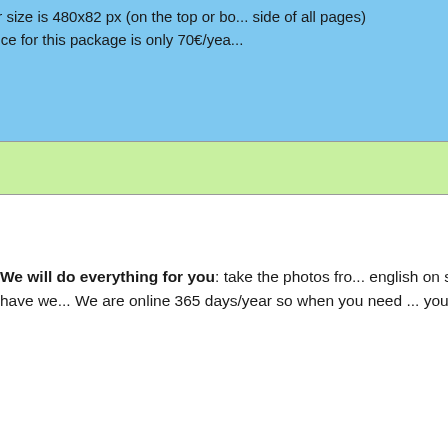[Figure (photo): Mosaic of building/interior photos showing doorways and greenery]
Banner size is 480x82 px (on the top or bottom side of all pages)
The price for this package is only 70€/year
Banner
We will do everything for you: take the photos from english on serbian language. If you dont have we are online 365 days/year so when you need you very quickly.
Payment methods:
For advertising on InfoItalija.com you can use bank wire transfer, Western Union and credit card (American Express).
To advertise your business on InfoItalija.com or